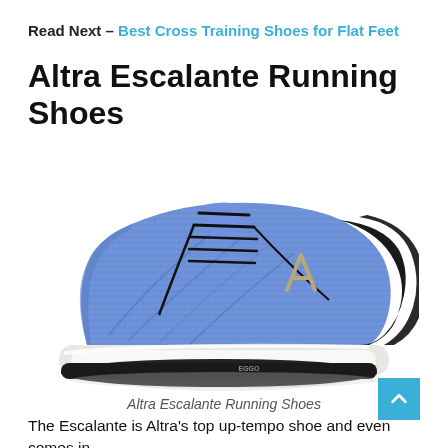Read Next – Best Cross Training Shoes for Flat Feet
Altra Escalante Running Shoes
[Figure (photo): Blue and grey Altra Escalante running shoe with white foam sole and black laces, shown from the side on a white background.]
Altra Escalante Running Shoes
The Escalante is Altra's top up-tempo shoe and even comes in at the formax clightwether...